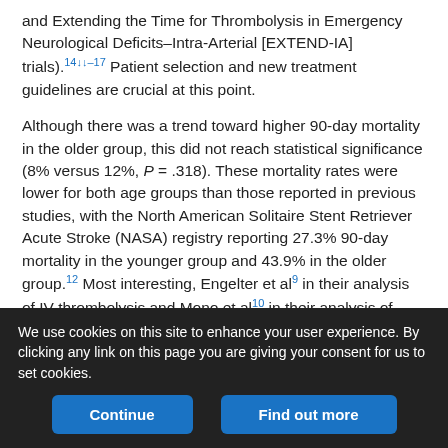and Extending the Time for Thrombolysis in Emergency Neurological Deficits–Intra-Arterial [EXTEND-IA] trials).14↓↓–17 Patient selection and new treatment guidelines are crucial at this point.
Although there was a trend toward higher 90-day mortality in the older group, this did not reach statistical significance (8% versus 12%, P = .318). These mortality rates were lower for both age groups than those reported in previous studies, with the North American Solitaire Stent Retriever Acute Stroke (NASA) registry reporting 27.3% 90-day mortality in the younger group and 43.9% in the older group.12 Most interesting, Engelter et al9 in their analysis of IV thrombolysis and Mono et al10 in their analysis of intra-arterial thrombolysis reported lower rates of 90-day mortality compared with
We use cookies on this site to enhance your user experience. By clicking any link on this page you are giving your consent for us to set cookies.